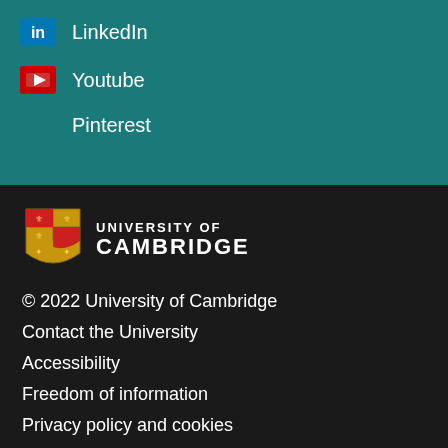LinkedIn
Youtube
Pinterest
[Figure (logo): University of Cambridge crest/shield logo with gold and red heraldic design]
UNIVERSITY OF CAMBRIDGE
© 2022 University of Cambridge
Contact the University
Accessibility
Freedom of information
Privacy policy and cookies
Statement on Modern Slavery
Terms and conditions